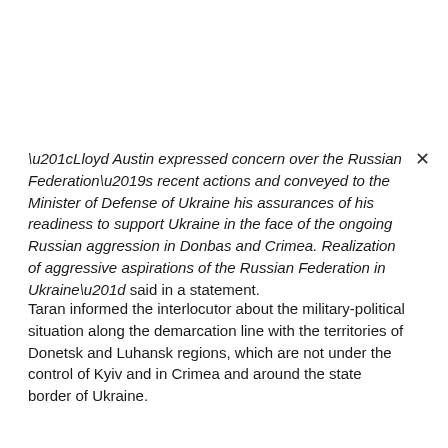“Lloyd Austin expressed concern over the Russian Federation’s recent actions and conveyed to the Minister of Defense of Ukraine his assurances of his readiness to support Ukraine in the face of the ongoing Russian aggression in Donbas and Crimea. Realization of aggressive aspirations of the Russian Federation in Ukraine” said in a statement.
Taran informed the interlocutor about the military-political situation along the demarcation line with the territories of Donetsk and Luhansk regions, which are not under the control of Kyiv and in Crimea and around the state border of Ukraine.